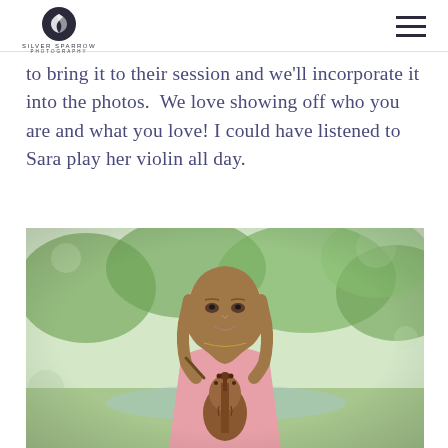SILVER SPARROW PHOTOGRAPHY
to bring it to their session and we'll incorporate it into the photos.  We love showing off who you are and what you love! I could have listened to Sara play her violin all day.
[Figure (photo): A teenage girl with shoulder-length brown hair smiling at the camera, holding a violin in front of her. She is wearing a pink top and a delicate necklace. The background shows an outdoor park setting with green trees and bokeh blur.]